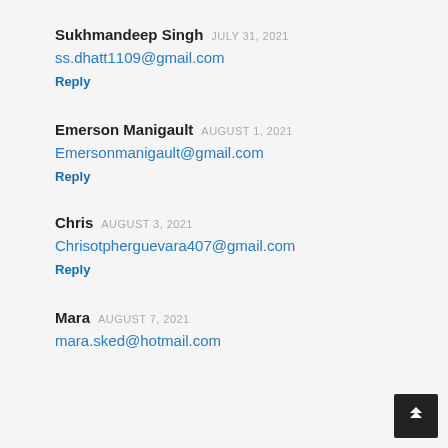Sukhmandeep Singh JULY 31, 2021
ss.dhatt1109@gmail.com
Reply
Emerson Manigault AUGUST 1, 2021
Emersonmanigault@gmail.com
Reply
Chris AUGUST 3, 2021
Chrisotpherguevara407@gmail.com
Reply
Mara AUGUST 7, 2021
mara.sked@hotmail.com